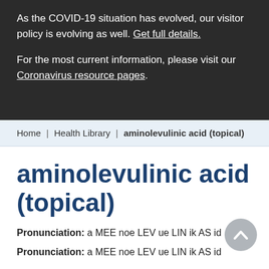As the COVID-19 situation has evolved, our visitor policy is evolving as well. Get full details.

For the most current information, please visit our Coronavirus resource pages.
Home  Health Library  aminolevulinic acid (topical)
aminolevulinic acid (topical)
Pronunciation: a MEE noe LEV ue LIN ik AS id
Pronunciation: a MEE noe LEV ue LIN ik AS id